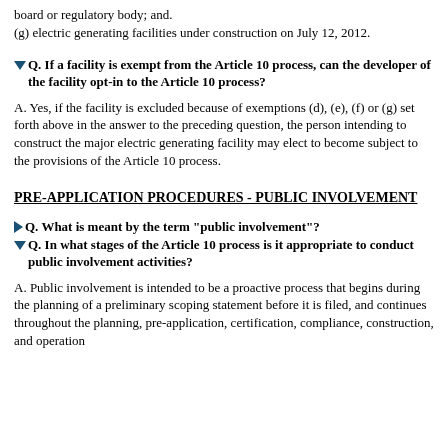board or regulatory body; and.
(g) electric generating facilities under construction on July 12, 2012.
Q. If a facility is exempt from the Article 10 process, can the developer of the facility opt-in to the Article 10 process?
A. Yes, if the facility is excluded because of exemptions (d), (e), (f) or (g) set forth above in the answer to the preceding question, the person intending to construct the major electric generating facility may elect to become subject to the provisions of the Article 10 process.
PRE-APPLICATION PROCEDURES - PUBLIC INVOLVEMENT
Q. What is meant by the term "public involvement"?
Q. In what stages of the Article 10 process is it appropriate to conduct public involvement activities?
A. Public involvement is intended to be a proactive process that begins during the planning of a preliminary scoping statement before it is filed, and continues throughout the planning, pre-application, certification, compliance, construction, and operation